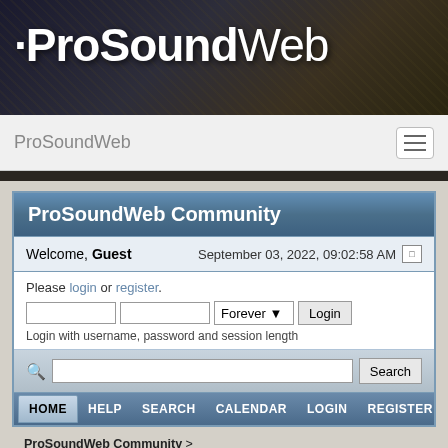[Figure (screenshot): ProSoundWeb website header banner with logo text on dark audio equipment background]
ProSoundWeb
ProSoundWeb Community
Welcome, Guest    September 03, 2022, 09:02:58 AM
Please login or register.
Login with username, password and session length
HOME  HELP  SEARCH  CALENDAR  LOGIN  REGISTER
ProSoundWeb Community >
Sound Reinforcement - Forums for Live Sound Professionals - Your Displayed Name Must Be Your Real Full Name To Post In The Live Sound Forums >
SR Forum Archives >  LAB Subwoofer FUD Forum Archive